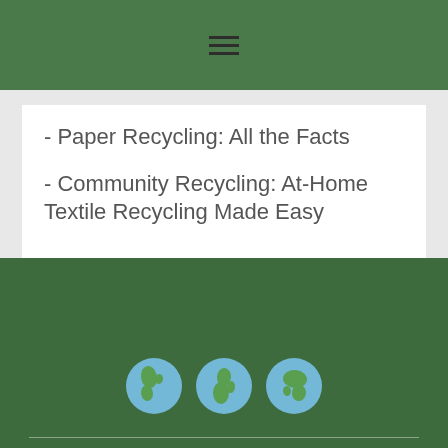[Figure (other): Navigation bar with hamburger menu icon (three horizontal lines) on dark green background]
- Paper Recycling: All the Facts
- Community Recycling: At-Home Textile Recycling Made Easy
[Figure (illustration): Three globe emoji icons side by side showing Americas, Europe/Africa, and Asia views on dark green footer background]